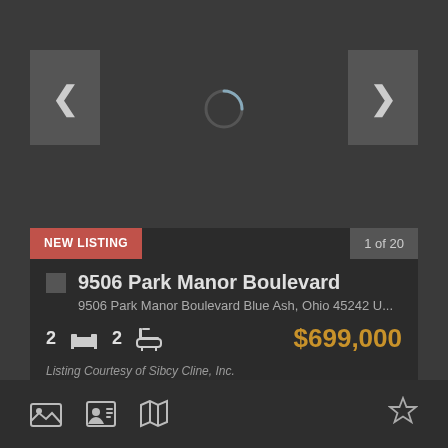[Figure (screenshot): Dark background image area with loading spinner in center and navigation arrows on left and right sides]
NEW LISTING
1 of 20
9506 Park Manor Boulevard
9506 Park Manor Boulevard Blue Ash, Ohio 45242 U...
2  2  $699,000
Listing Courtesy of Sibcy Cline, Inc.
[Figure (screenshot): Bottom toolbar with photo gallery icon, contact card icon, map icon on left and star/favorite icon on right]